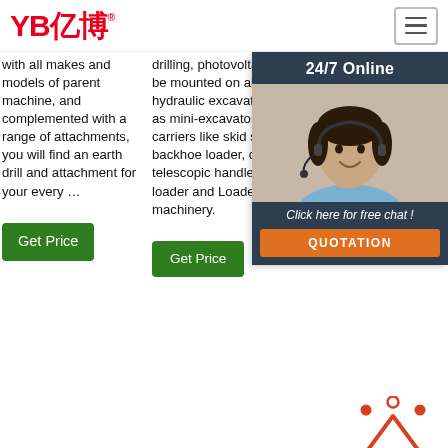YB亿博® [hamburger menu]
with all makes and models of parent machine, and complemented with a range of attachments, you will find an earth drill and attachment for your every …
drilling, photovoltaic pile.it can be mounted on all common hydraulic excavators as well as mini-excavator and other carriers like skid steer loader, backhoe loader, crane, telescopic handler, wheel loader and Loader and other machinery.
and connection hoses. Sealed Plan… redi… hea…
[Figure (photo): Customer service agent woman with headset, 24/7 Online widget overlay with dark background, 'Click here for free chat!' text, and orange QUOTATION button]
Get Price
G (green button, partial)
Get Price
[Figure (logo): TOP icon with red triangle outline and dots, and red TOP text]
[Figure (photo): Two product/machinery thumbnail images at bottom]
YB亿博 website screenshot